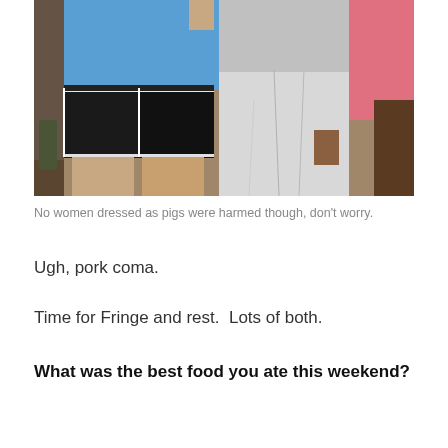[Figure (photo): Two people standing side by side. Person on left wearing a blue top and black shorts with white trim. Person on right wearing white pants and a white top, with a pink object visible in the background.]
No women dressed as pigs were harmed though, don't worry.
Ugh, pork coma.
Time for Fringe and rest.  Lots of both.
What was the best food you ate this weekend?